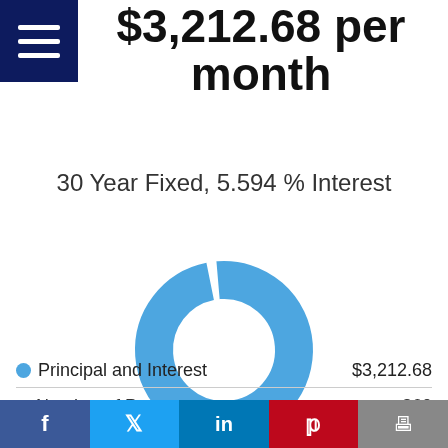$3,212.68 per month
30 Year Fixed, 5.594 % Interest
[Figure (donut-chart): Monthly Payment Breakdown]
Principal and Interest  $3,212.68
Number of Payments  360
Total Payments  $1,156,564.07
f  Twitter  in  P  Print